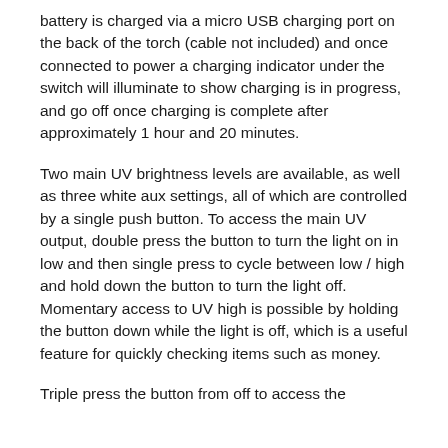battery is charged via a micro USB charging port on the back of the torch (cable not included) and once connected to power a charging indicator under the switch will illuminate to show charging is in progress, and go off once charging is complete after approximately 1 hour and 20 minutes.
Two main UV brightness levels are available, as well as three white aux settings, all of which are controlled by a single push button. To access the main UV output, double press the button to turn the light on in low and then single press to cycle between low / high and hold down the button to turn the light off. Momentary access to UV high is possible by holding the button down while the light is off, which is a useful feature for quickly checking items such as money.
Triple press the button from off to access the